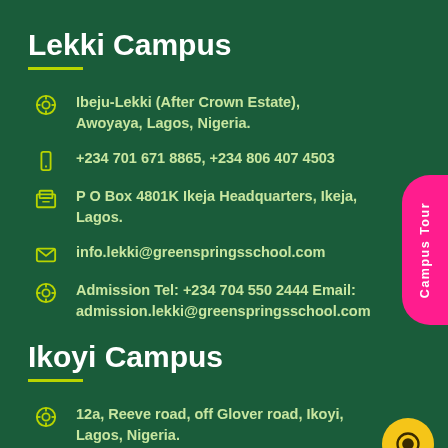Lekki Campus
Ibeju-Lekki (After Crown Estate), Awoyaya, Lagos, Nigeria.
+234 701 671 8865, +234 806 407 4503
P O Box 4801K Ikeja Headquarters, Ikeja, Lagos.
info.lekki@greenspringsschool.com
Admission Tel: +234 704 550 2444 Email: admission.lekki@greenspringsschool.com
Ikoyi Campus
12a, Reeve road, off Glover road, Ikoyi, Lagos, Nigeria.